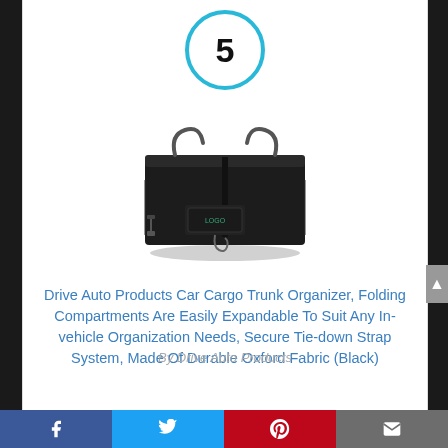[Figure (other): Number 5 inside a cyan/light-blue circle with thick border]
[Figure (photo): Black folding car cargo trunk organizer with multiple compartments, handles, and a front pocket with a hook]
Drive Auto Products Car Cargo Trunk Organizer, Folding Compartments Are Easily Expandable To Suit Any In-vehicle Organization Needs, Secure Tie-down Strap System, Made Of Durable Oxford Fabric (Black)
By Drive Auto Products (partially visible at bottom)
[Figure (infographic): Social sharing bar at bottom with Facebook, Twitter, Pinterest, and email icons]